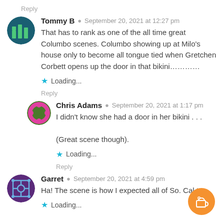Reply
Tommy B · September 20, 2021 at 12:27 pm
That has to rank as one of the all time great Columbo scenes. Columbo showing up at Milo's house only to become all tongue tied when Gretchen Corbett opens up the door in that bikini…………
★ Loading...
Reply
Chris Adams · September 20, 2021 at 1:17 pm
I didn't know she had a door in her bikini . . .
(Great scene though).
★ Loading...
Reply
Garret · September 20, 2021 at 4:59 pm
Ha! The scene is how I expected all of So. Cal t…
★ Loading...